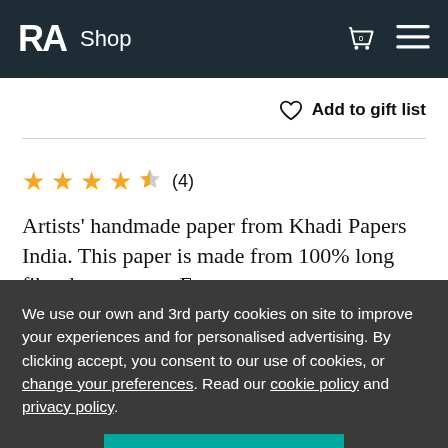RA Shop
Add to gift list
★ ★ ★ ★ ☆ (4)
Artists' handmade paper from Khadi Papers India. This paper is made from 100% long fibred cotton rag. For
We use our own and 3rd party cookies on site to improve your experiences and for personalised advertising. By clicking accept, you consent to our use of cookies, or change your preferences. Read our cookie policy and privacy policy.
Accept cookies